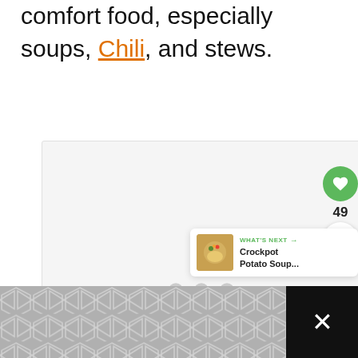comfort food, especially soups, Chili, and stews.
[Figure (other): Advertisement placeholder box with three gray loading dots in center]
[Figure (other): Green heart/favorite button with count 49 and share button below]
[Figure (other): What's Next card showing Crockpot Potato Soup... with thumbnail]
[Figure (other): Bottom bar with geometric diamond/chevron pattern on left and close X button on dark right side]